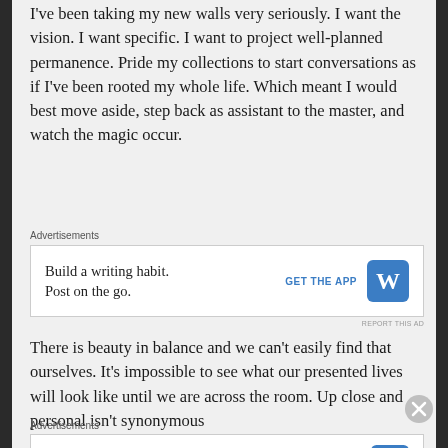I've been taking my new walls very seriously. I want the vision. I want specific. I want to project well-planned permanence. Pride my collections to start conversations as if I've been rooted my whole life. Which meant I would best move aside, step back as assistant to the master, and watch the magic occur.
[Figure (screenshot): Advertisement banner: 'Build a writing habit. Post on the go.' with GET THE APP button and WordPress logo]
There is beauty in balance and we can't easily find that ourselves. It's impossible to see what our presented lives will look like until we are across the room. Up close and personal isn't synonymous
[Figure (screenshot): Advertisement banner (second): 'Build a writing habit. Post on the go.' with GET THE APP button and WordPress logo]